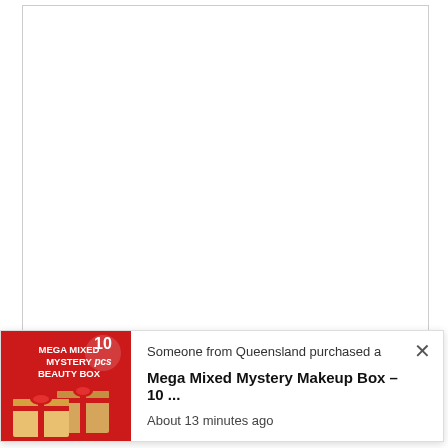[Figure (screenshot): Screenshot of a webpage with a large white content area bounded by a thin border, mostly blank/empty content area visible.]
[Figure (infographic): Pop-up notification widget at the bottom of the page showing a purchase notification. Left side shows a red-background product image with 'MEGA MIXED MYSTERY BEAUTY BOX' text and '10 pcs' label, with two gift boxes. Right side shows text: 'Someone from Queensland purchased a', bold text 'Mega Mixed Mystery Makeup Box – 10 ...', and 'About 13 minutes ago'. An X close button is in the top-right corner.]